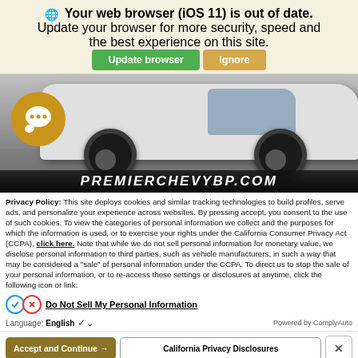🌐 Your web browser (iOS 11) is out of date.
Update your browser for more security, speed and the best experience on this site.
[Figure (screenshot): Browser update banner with Update browser (green button) and Ignore (tan button)]
[Figure (photo): Partial photo of a white SUV/car with a golden chat bubble icon overlay, and PREMIERCHEVYBP.COM text on dark bar at bottom]
Privacy Policy: This site deploys cookies and similar tracking technologies to build profiles, serve ads, and personalize your experience across websites. By pressing accept, you consent to the use of such cookies. To view the categories of personal information we collect and the purposes for which the information is used, or to exercise your rights under the California Consumer Privacy Act (CCPA), click here. Note that while we do not sell personal information for monetary value, we disclose personal information to third parties, such as vehicle manufacturers, in such a way that may be considered a "sale" of personal information under the CCPA. To direct us to stop the sale of your personal information, or to re-access these settings or disclosures at anytime, click the following icon or link:
Do Not Sell My Personal Information
Language: English
Powered by ComplyAuto
Accept and Continue →
California Privacy Disclosures
X